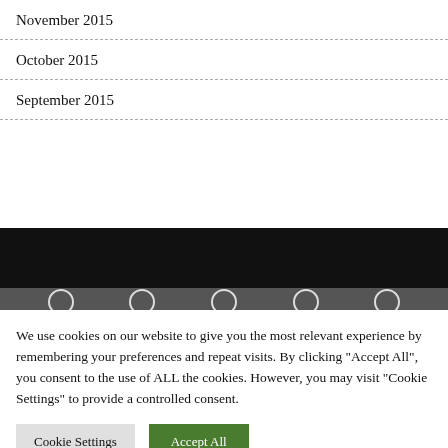November 2015
October 2015
September 2015
[Figure (other): Dark black banner bar with row of circular icons below]
We use cookies on our website to give you the most relevant experience by remembering your preferences and repeat visits. By clicking "Accept All", you consent to the use of ALL the cookies. However, you may visit "Cookie Settings" to provide a controlled consent.
Cookie Settings | Accept All